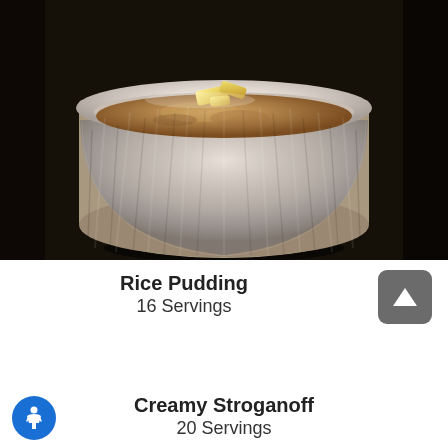[Figure (photo): Close-up photo of rice pudding in a white ribbed ramekin with butter pieces on top, dark background]
Rice Pudding
16 Servings
Creamy Stroganoff
20 Servings